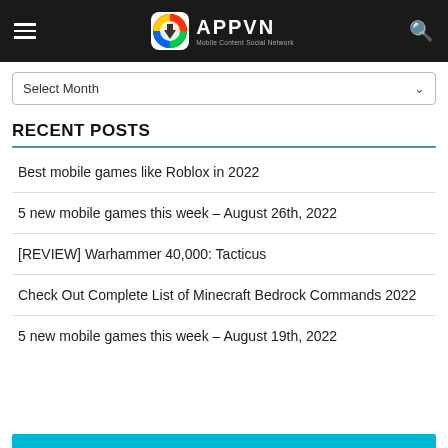APPVN Mobile Content Social Network
Select Month
RECENT POSTS
Best mobile games like Roblox in 2022
5 new mobile games this week – August 26th, 2022
[REVIEW] Warhammer 40,000: Tacticus
Check Out Complete List of Minecraft Bedrock Commands 2022
5 new mobile games this week – August 19th, 2022